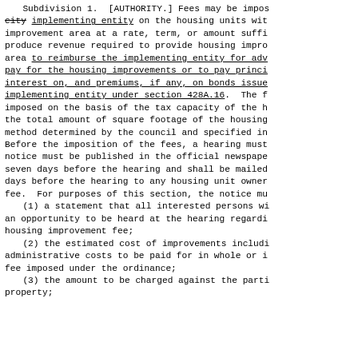Subdivision 1. [AUTHORITY.] Fees may be imposed by the city implementing entity on the housing units within a housing improvement area at a rate, term, or amount sufficient to produce revenue required to provide housing improvements in the area to reimburse the implementing entity for advances made to pay for the housing improvements or to pay principal of, interest on, and premiums, if any, on bonds issued by the implementing entity under section 428A.16. The fees may be imposed on the basis of the tax capacity of the housing unit, the total amount of square footage of the housing unit, or another method determined by the council and specified in the ordinance. Before the imposition of the fees, a hearing must be held and notice must be published in the official newspaper of the municipality seven days before the hearing and shall be mailed at least ten days before the hearing to any housing unit owner subject to the fee. For purposes of this section, the notice must include: (1) a statement that all interested persons will be given an opportunity to be heard at the hearing regarding the proposed housing improvement fee; (2) the estimated cost of improvements including administrative costs to be paid for in whole or in part by the fee imposed under the ordinance; (3) the amount to be charged against the particular property;